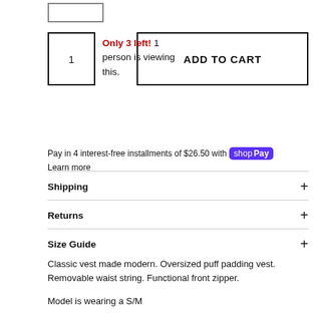[Figure (other): Small empty rectangle box at top left, likely an image placeholder or thumbnail]
Only 3 left! 1 person is viewing this.
ADD TO CART
Pay in 4 interest-free installments of $26.50 with Shop Pay Learn more
Shipping +
Returns +
Size Guide +
Classic vest made modern. Oversized puff padding vest. Removable waist string. Functional front zipper.
Model is wearing a S/M